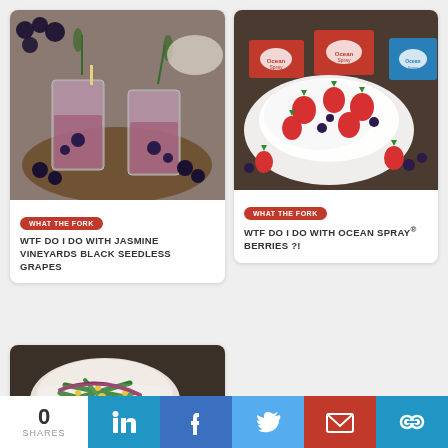[Figure (photo): Two glasses of dark berry cocktail with rosemary garnish on a wooden board with blueberries]
WHAT THE FORK
WTF DO I DO WITH JASMINE VINEYARDS BLACK SEEDLESS GRAPES
[Figure (photo): White plate with strawberries and cream topped with blueberries, Ocean Spray berry packages in background]
WHAT THE FORK
WTF DO I DO WITH OCEAN SPRAY® BERRIES ?!
[Figure (photo): Bowl of green beans with yellow corn and purple ribbons, with a bowl of soup beside it]
0 SHARES